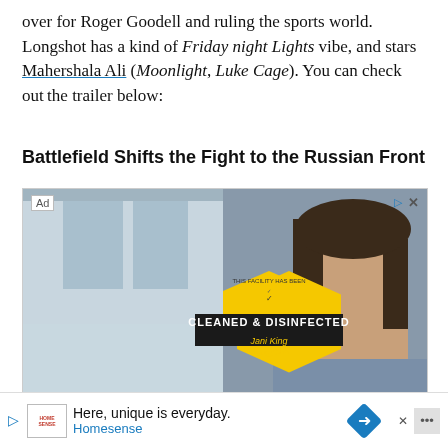over for Roger Goodell and ruling the sports world. Longshot has a kind of Friday night Lights vibe, and stars Mahershala Ali (Moonlight, Luke Cage). You can check out the trailer below:
Battlefield Shifts the Fight to the Russian Front
[Figure (photo): Advertisement for Jani King Commercial Cleaning featuring a smiling woman in a Jani King uniform and a yellow hexagonal badge reading 'This facility has been CLEANED & DISINFECTED - Jani King - The King of Clean', set against a modern commercial building interior with glass walls.]
Jani King Commercial Cleaning
[Figure (infographic): Bottom banner advertisement for Homesense with text 'Here, unique is everyday.' and 'Homesense' in teal, a Home Sense logo box, a blue play arrow, a blue diamond arrow icon, and a close X button.]